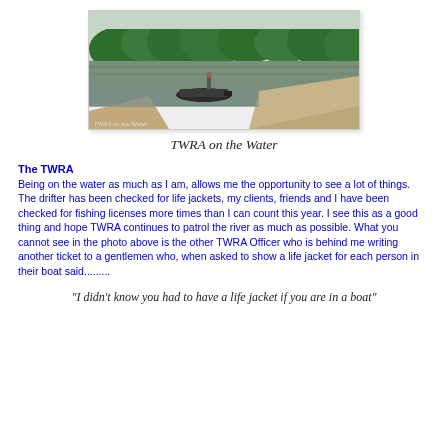[Figure (photo): A boat with a person on a river with green trees and sandy bank in the background. TWRA on the Water scene.]
TWRA on the Water
The TWRA
Being on the water as much as I am, allows me the opportunity to see a lot of things. The drifter has been checked for life jackets, my clients, friends and I have been checked for fishing licenses more times than I can count this year. I see this as a good thing and hope TWRA continues to patrol the river as much as possible. What you cannot see in the photo above is the other TWRA Officer who is behind me writing another ticket to a gentlemen who, when asked to show a life jacket for each person in their boat said.........
"I didn't know you had to have a life jacket if you are in a boat"